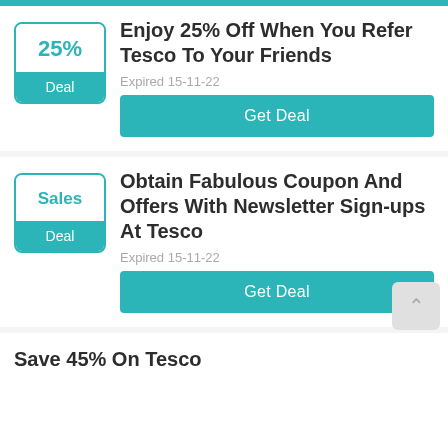Enjoy 25% Off When You Refer Tesco To Your Friends
Expired 15-11-22
Get Deal
Obtain Fabulous Coupon And Offers With Newsletter Sign-ups At Tesco
Expired 15-11-22
Get Deal
Save 45% On Tesco